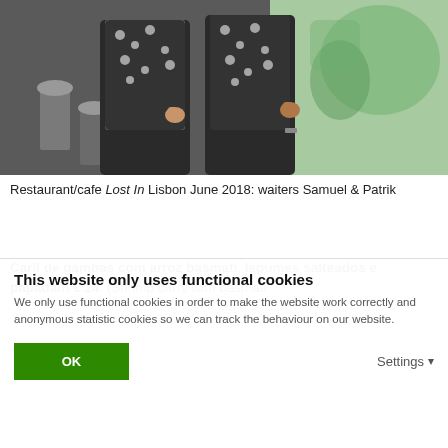[Figure (photo): Two waiters in patterned black-and-white shirts giving thumbs up inside a restaurant/cafe with a mural on the wall]
Restaurant/cafe Lost In Lisbon June 2018: waiters Samuel & Patrik
Caril de gambas com arroz basmati, legumes salteados e papadam € 14. (Shrimp curry with basmati
This website only uses functional cookies
We only use functional cookies in order to make the website work correctly and anonymous statistic cookies so we can track the behaviour on our website.